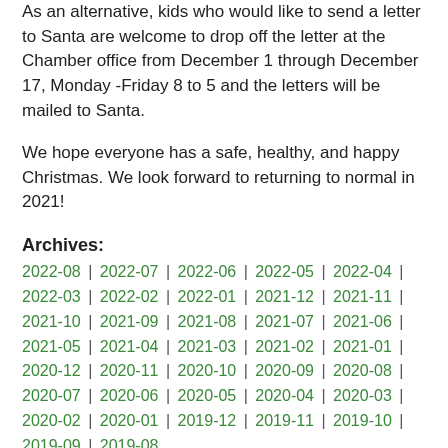As an alternative, kids who would like to send a letter to Santa are welcome to drop off the letter at the Chamber office from December 1 through December 17, Monday -Friday 8 to 5 and the letters will be mailed to Santa.
We hope everyone has a safe, healthy, and happy Christmas. We look forward to returning to normal in 2021!
Archives:
2022-08 | 2022-07 | 2022-06 | 2022-05 | 2022-04 | 2022-03 | 2022-02 | 2022-01 | 2021-12 | 2021-11 | 2021-10 | 2021-09 | 2021-08 | 2021-07 | 2021-06 | 2021-05 | 2021-04 | 2021-03 | 2021-02 | 2021-01 | 2020-12 | 2020-11 | 2020-10 | 2020-09 | 2020-08 | 2020-07 | 2020-06 | 2020-05 | 2020-04 | 2020-03 | 2020-02 | 2020-01 | 2019-12 | 2019-11 | 2019-10 | 2019-09 | 2019-08